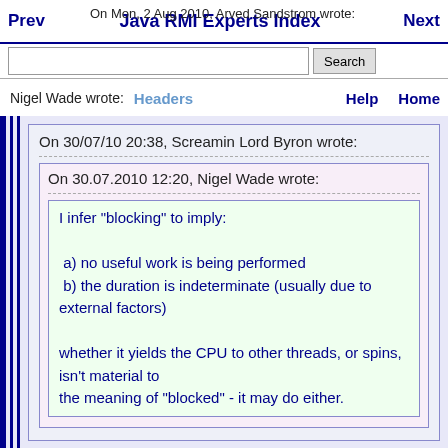Prev   Java RMI Experts Index   Next
On Mon, 2 Aug 2010, Arved Sandstrom wrote:
Nigel Wade wrote:  Headers   Help   Home
On 30/07/10 20:38, Screamin Lord Byron wrote:
On 30.07.2010 12:20, Nigel Wade wrote:
I infer "blocking" to imply:

 a) no useful work is being performed
 b) the duration is indeterminate (usually due to external factors)

whether it yields the CPU to other threads, or spins, isn't material to
the meaning of "blocked" - it may do either.
Wouldn't you say that a function which does some time consuming